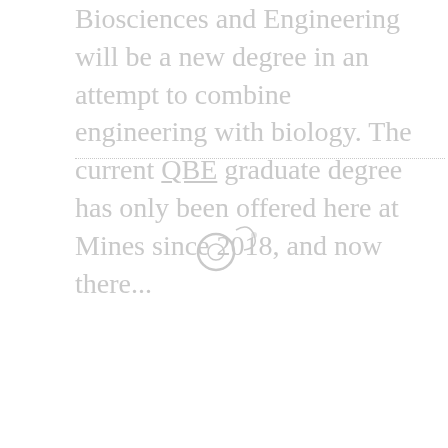Biosciences and Engineering will be a new degree in an attempt to combine engineering with biology. The current QBE graduate degree has only been offered here at Mines since 2018, and now there...
[Figure (other): A faint circular icon/logo with a small decorative element, rendered in light gray, centered below a dotted divider line.]